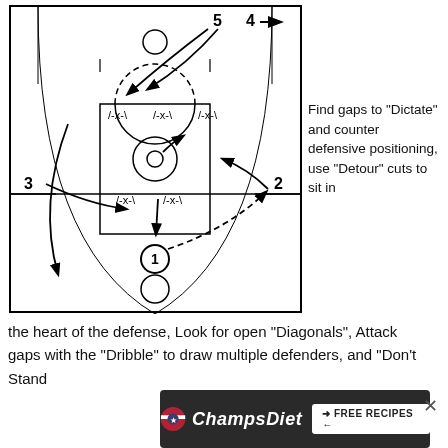[Figure (schematic): Basketball play diagram showing half-court with players numbered 1-5, defenders marked /-x-\, arrows showing player movement and cuts including dribble paths and passing lanes]
Find gaps to “Dictate” and counter defensive positioning, use “Detour” cuts to sit in the heart of the defense, Look for open “Diagonals”, Attack gaps with the “Dribble” to draw multiple defenders, and “Don’t Stand
[Figure (photo): ChampsDiet advertisement banner showing food items, a patriotic logo, cursive ChampsDiet text, and a FREE RECIPES button]